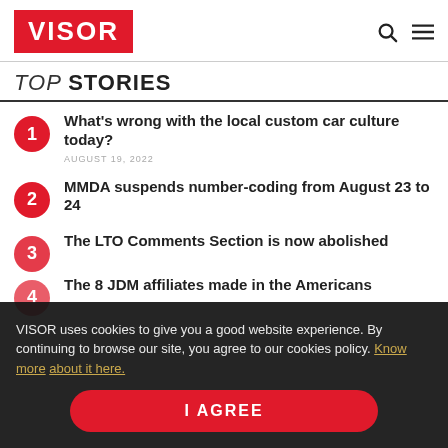VISOR
TOP STORIES
What's wrong with the local custom car culture today? AUGUST 19, 2022
MMDA suspends number-coding from August 23 to 24
The LTO Comments Section is now abolished
The 8 JDM affiliates made in the Americans
VISOR uses cookies to give you a good website experience. By continuing to browse our site, you agree to our cookies policy. Know more about it here.
I AGREE